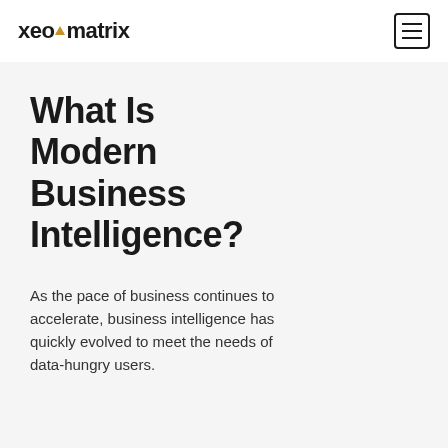xeomatrix
What Is Modern Business Intelligence?
As the pace of business continues to accelerate, business intelligence has quickly evolved to meet the needs of data-hungry users.